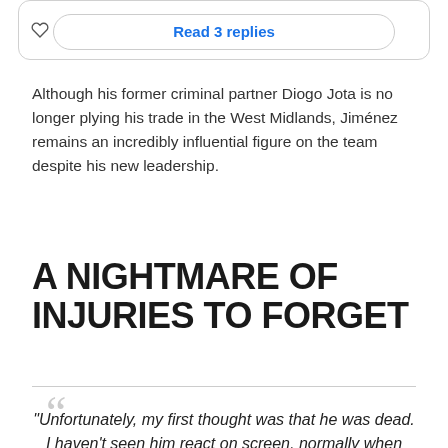[Figure (screenshot): Social media interaction bar showing heart icon with '1K', reply icon with 'Reply', and copy link icon with 'Copy link', plus a 'Read 3 replies' button]
Although his former criminal partner Diogo Jota is no longer plying his trade in the West Midlands, Jiménez remains an incredibly influential figure on the team despite his new leadership.
A NIGHTMARE OF INJURIES TO FORGET
“Unfortunately, my first thought was that he was dead. I haven’t seen him react on screen, normally when